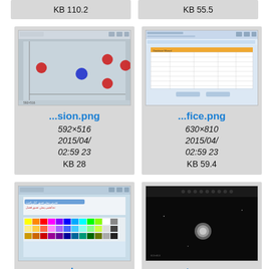KB 110.2
KB 55.5
[Figure (screenshot): Scatter plot application window with red and blue spheres on gray background]
...sion.png
592×516
2015/04/
02:59 23
KB 28
[Figure (screenshot): Spreadsheet/database application window with table data]
...fice.png
630×810
2015/04/
02:59 23
KB 59.4
[Figure (screenshot): Keyboard/color picker application window with Arabic text and colorful keyboard]
...uch.png
712×863
2015/04/
02:59 23
[Figure (screenshot): Dark image with a bright circular object (planet or moon) on black background]
...tars.png
813×853
2015/04/
02:59 23